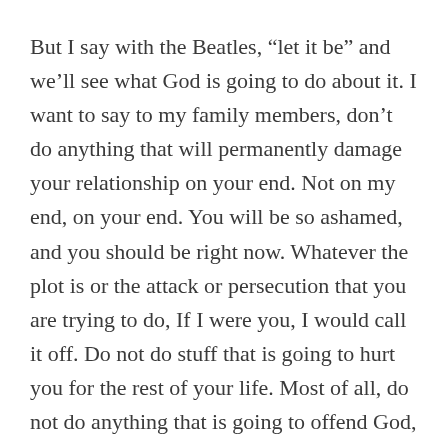But I say with the Beatles, “let it be” and we’ll see what God is going to do about it. I want to say to my family members, don’t do anything that will permanently damage your relationship on your end. Not on my end, on your end. You will be so ashamed, and you should be right now. Whatever the plot is or the attack or persecution that you are trying to do, If I were you, I would call it off. Do not do stuff that is going to hurt you for the rest of your life. Most of all, do not do anything that is going to offend God, because God is going to take his blessings off of you. Do not think that He will not do so, because he has and he will.
If what Daniel Whyte III is predicting is going to happen begins to go forward he humbly and respectfully asks Dr. Tony Evans if the Lord had his attention in a...